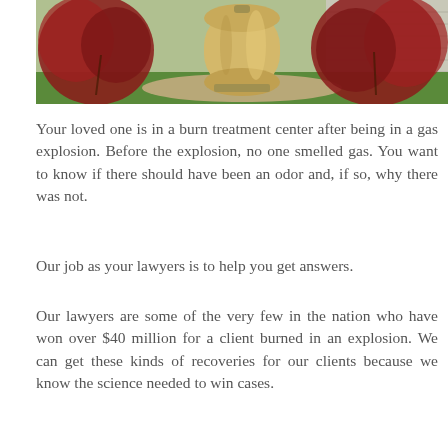[Figure (photo): A large tan/beige propane tank sitting beside a house exterior with red-leafed shrubs and green grass in the foreground.]
Your loved one is in a burn treatment center after being in a gas explosion. Before the explosion, no one smelled gas. You want to know if there should have been an odor and, if so, why there was not.
Our job as your lawyers is to help you get answers.
Our lawyers are some of the very few in the nation who have won over $40 million for a client burned in an explosion. We can get these kinds of recoveries for our clients because we know the science needed to win cases.